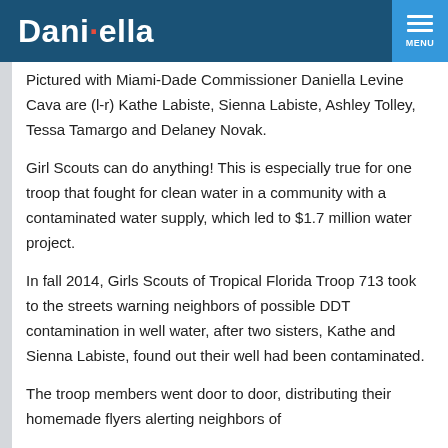Danielella
Pictured with Miami-Dade Commissioner Daniella Levine Cava are (l-r) Kathe Labiste, Sienna Labiste, Ashley Tolley, Tessa Tamargo and Delaney Novak.
Girl Scouts can do anything! This is especially true for one troop that fought for clean water in a community with a contaminated water supply, which led to $1.7 million water project.
In fall 2014, Girls Scouts of Tropical Florida Troop 713 took to the streets warning neighbors of possible DDT contamination in well water, after two sisters, Kathe and Sienna Labiste, found out their well had been contaminated.
The troop members went door to door, distributing their homemade flyers alerting neighbors of